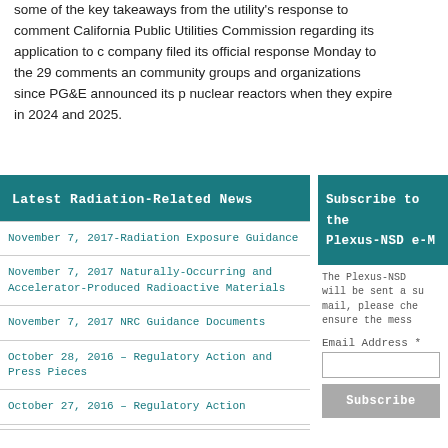some of the key takeaways from the utility's response to comment California Public Utilities Commission regarding its application to company filed its official response Monday to the 29 comments an community groups and organizations since PG&E announced its p nuclear reactors when they expire in 2024 and 2025.
Latest Radiation-Related News
November 7, 2017-Radiation Exposure Guidance
November 7, 2017 Naturally-Occurring and Accelerator-Produced Radioactive Materials
November 7, 2017 NRC Guidance Documents
October 28, 2016 – Regulatory Action and Press Pieces
October 27, 2016 – Regulatory Action
Subscribe to the Plexus-NSD e-M
The Plexus-NSD will be sent a su mail, please che ensure the mess
Email Address *
Subscribe